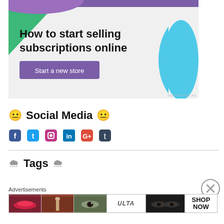[Figure (illustration): Advertisement banner: 'How to start selling subscriptions online' with a purple and green geometric design, blue blob shape on right, and a purple 'Start a new store' button. 'REPORT THIS AD' text bottom right.]
😐 Social Media 😐
Social media icons: Facebook, Twitter, Instagram, LinkedIn, Google+, Tumblr
🌧 Tags 🌧
[Figure (illustration): Bottom advertisement strip labeled 'Advertisements' showing makeup/beauty product images and ULTA logo with 'SHOP NOW' text.]